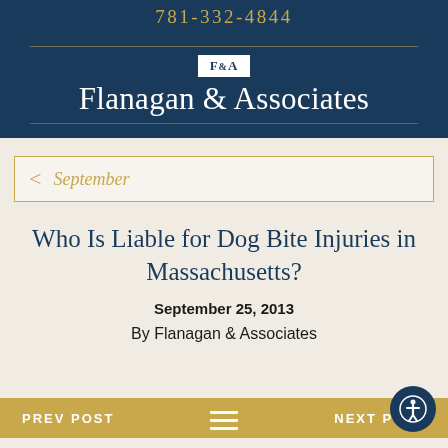781-332-4844
[Figure (logo): F&A logo badge with text Flanagan & Associates, white text on dark navy background with gold divider lines]
September
Who Is Liable for Dog Bite Injuries in Massachusetts?
September 25, 2013
By Flanagan & Associates
PREV POST   NEXT POST